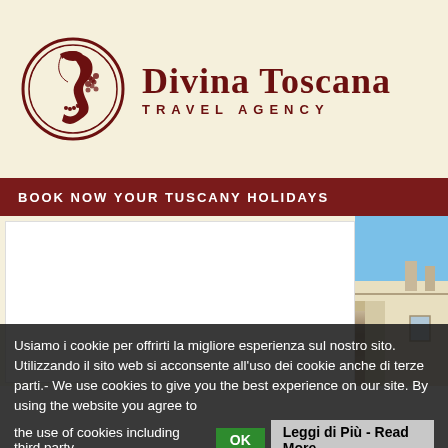[Figure (logo): Divina Toscana Travel Agency logo: circular medallion with woman silhouette profile, dark red color scheme, text 'Divina Toscana' in serif font and 'TRAVEL AGENCY' in spaced sans-serif below]
BOOK NOW YOUR TUSCANY HOLIDAYS
[Figure (photo): Partial view of a Tuscan building with white/cream walls against a blue sky, visible roofline and chimneys]
Usiamo i cookie per offrirti la migliore esperienza sul nostro sito. Utilizzando il sito web si acconsente all'uso dei cookie anche di terze parti.- We use cookies to give you the best experience on our site. By using the website you agree to the use of cookies including third party
OK
Leggi di Più - Read More